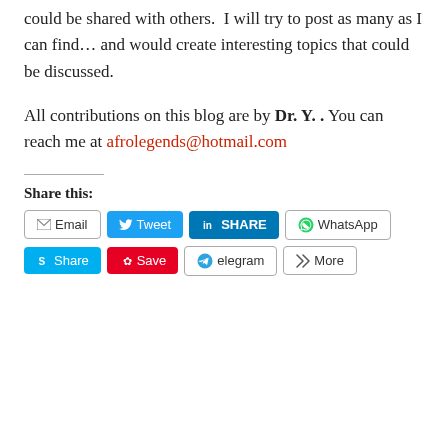could be shared with others.  I will try to post as many as I can find… and would create interesting topics that could be discussed.
All contributions on this blog are by Dr. Y. . You can reach me at afrolegends@hotmail.com
Share this:
[Figure (screenshot): Social sharing buttons: Email, Tweet, LinkedIn SHARE, WhatsApp, Skype Share, Pinterest Save, Telegram, More]